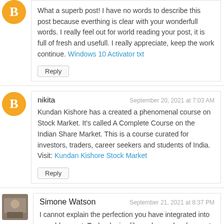What a superb post! I have no words to describe this post because everthing is clear with your wonderfull words. I really feel out for world reading your post, it is full of fresh and usefull. I really appreciate, keep the work continue. Windows 10 Activator txt
Reply
nikita — September 20, 2021 at 7:03 AM
Kundan Kishore has a created a phenomenal course on Stock Market. It's called A Complete Course on the Indian Share Market. This is a course curated for investors, traders, career seekers and students of India. Visit: Kundan Kishore Stock Market
Reply
Simone Watson — September 21, 2021 at 8:37 PM
I cannot explain the perfection you have integrated into your blog post. Technologies like web app development